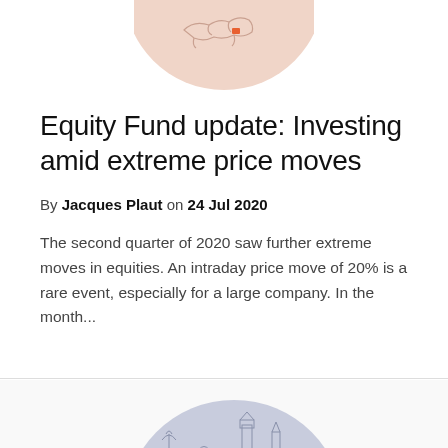[Figure (illustration): Circular illustration with a peach/salmon background showing a map outline with a small orange location marker, partially cropped at the top of the page]
Equity Fund update: Investing amid extreme price moves
By Jacques Plaut on 24 Jul 2020
The second quarter of 2020 saw further extreme moves in equities. An intraday price move of 20% is a rare event, especially for a large company. In the month...
[Figure (illustration): Circular illustration with a light blue/lavender background showing city landmark skyline silhouettes including Statue of Liberty, Big Ben, and other monuments, partially visible at the bottom of the page]